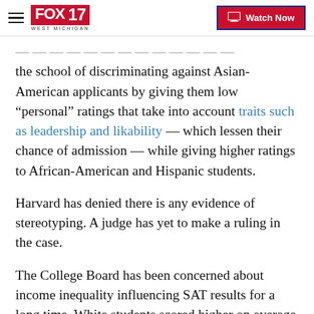FOX 17 WEST MICHIGAN | Watch Now
the school of discriminating against Asian-American applicants by giving them low “personal” ratings that take into account traits such as leadership and likability — which lessen their chance of admission — while giving higher ratings to African-American and Hispanic students.
Harvard has denied there is any evidence of stereotyping. A judge has yet to make a ruling in the case.
The College Board has been concerned about income inequality influencing SAT results for a long time. White students scored higher on average than black